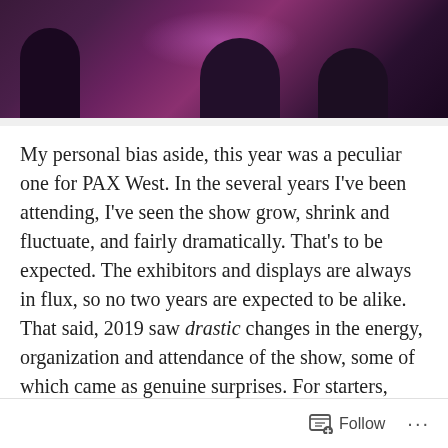[Figure (photo): Dark concert/performance scene with purple and pink stage lighting, silhouettes of people visible]
My personal bias aside, this year was a peculiar one for PAX West. In the several years I've been attending, I've seen the show grow, shrink and fluctuate, and fairly dramatically. That's to be expected. The exhibitors and displays are always in flux, so no two years are expected to be alike. That said, 2019 saw drastic changes in the energy, organization and attendance of the show, some of which came as genuine surprises. For starters, PAX abandoned its massive performance space at the Benaroya Hall in downtown Seattle, their main theatre for the last 6 or so years, to re-
Follow ...